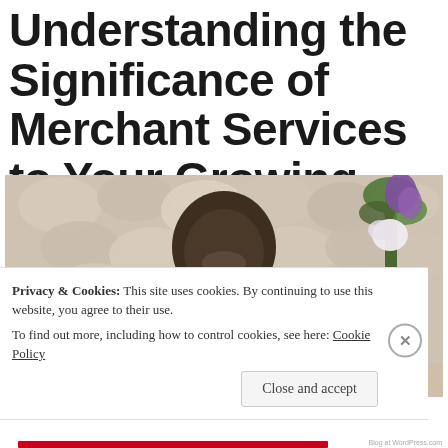Understanding the Significance of Merchant Services to Your Growing Business
[Figure (photo): A smiling man in a white shirt reaching forward, photographed against a stone wall background with purple and white flowers, in a business context.]
Privacy & Cookies: This site uses cookies. By continuing to use this website, you agree to their use.
To find out more, including how to control cookies, see here: Cookie Policy